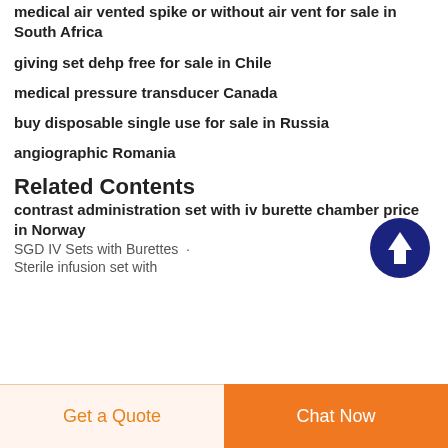medical air vented spike or without air vent for sale in South Africa
giving set dehp free for sale in Chile
medical pressure transducer Canada
buy disposable single use for sale in Russia
angiographic Romania
Related Contents
contrast administration set with iv burette chamber price in Norway
SGD IV Sets with Burettes  ·
Sterile infusion set with
Get a Quote   Chat Now